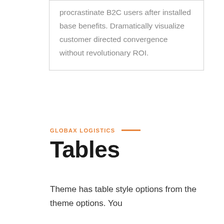procrastinate B2C users after installed base benefits. Dramatically visualize customer directed convergence without revolutionary ROI.
GLOBAX LOGISTICS
Tables
Theme has table style options from the theme options. You